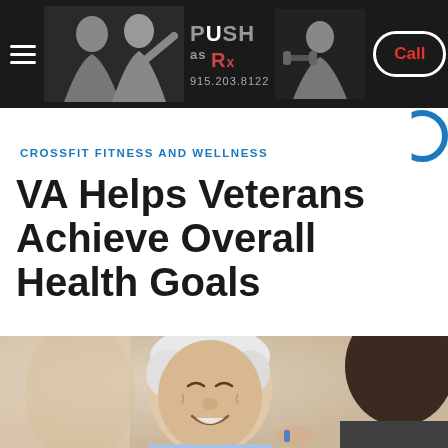[Figure (photo): Dark banner with hamburger menu icon on left, two fitness professionals photo, PUSH as Rx logo and phone number 915.203.8122 in center, fitness person with weights on right, and a Call button with red text on far right]
[Figure (logo): Partial blue circle watermark in top right corner below banner]
CROSSFIT FITNESS AND WELLNESS
VA Helps Veterans Achieve Overall Health Goals
[Figure (photo): An elderly man with white hair smiling, wearing a blue plaid shirt, with a younger person's hand on his shoulder visible in the foreground/right side]